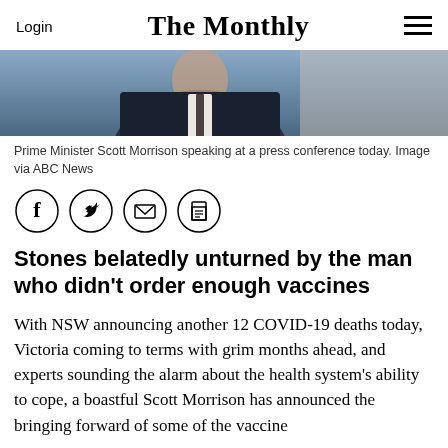Login | The Monthly | [menu]
[Figure (photo): Partial photo of Prime Minister Scott Morrison in a dark suit, speaking at a press conference, cropped to show upper torso and background.]
Prime Minister Scott Morrison speaking at a press conference today. Image via ABC News
[Figure (infographic): Four circular social sharing icons: Facebook (f), Twitter (bird), Email (envelope), Print (printer/document)]
Stones belatedly unturned by the man who didn't order enough vaccines
With NSW announcing another 12 COVID-19 deaths today, Victoria coming to terms with grim months ahead, and experts sounding the alarm about the health system's ability to cope, a boastful Scott Morrison has announced the bringing forward of some of the vaccine...